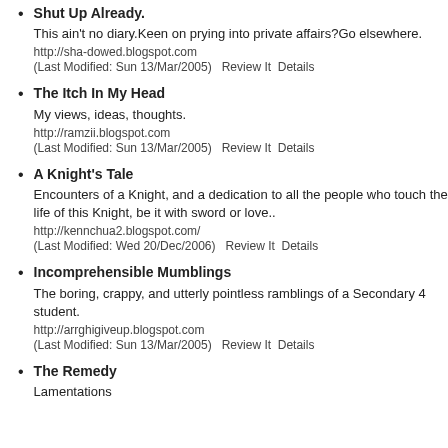Shut Up Already.
This ain't no diary.Keen on prying into private affairs?Go elsewhere.
http://sha-dowed.blogspot.com
(Last Modified: Sun 13/Mar/2005)   Review It  Details
The Itch In My Head
My views, ideas, thoughts.
http://ramzii.blogspot.com
(Last Modified: Sun 13/Mar/2005)   Review It  Details
A Knight's Tale
Encounters of a Knight, and a dedication to all the people who touch the life of this Knight, be it with sword or love..
http://kennchua2.blogspot.com/
(Last Modified: Wed 20/Dec/2006)   Review It  Details
Incomprehensible Mumblings
The boring, crappy, and utterly pointless ramblings of a Secondary 4 student.
http://arrghigiveup.blogspot.com
(Last Modified: Sun 13/Mar/2005)   Review It  Details
The Remedy
Lamentations